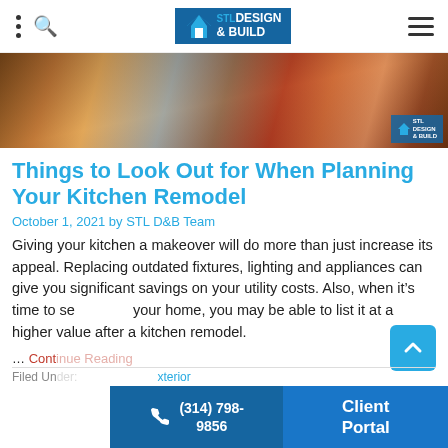STL Design & Build navigation bar with logo
[Figure (photo): Hero image of kitchen remodel tools and blueprints on a table, with STL Design & Build logo overlay in bottom right]
Things to Look Out for When Planning Your Kitchen Remodel
October 1, 2021 by STL D&B Team
Giving your kitchen a makeover will do more than just increase its appeal. Replacing outdated fixtures, lighting and appliances can give you significant savings on your utility costs. Also, when it's time to sell your home, you may be able to list it at a higher value after a kitchen remodel.
… Continue Reading
Filed Under: … Exterior
(314) 798-9856  |  Client Portal